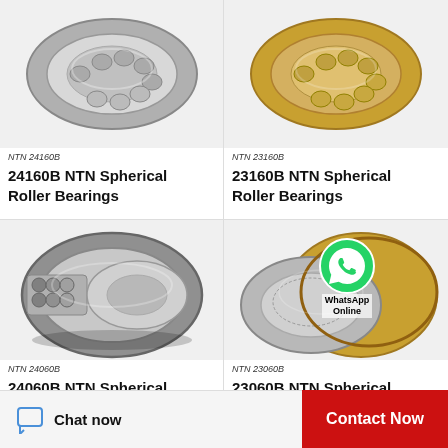[Figure (photo): NTN 24160B Spherical Roller Bearing product photo (partial, top cropped)]
NTN 24160B
24160B NTN Spherical Roller Bearings
[Figure (photo): NTN 23160B Spherical Roller Bearing product photo (partial, top cropped)]
NTN 23160B
23160B NTN Spherical Roller Bearings
[Figure (photo): NTN 24060B Spherical Roller Bearing product photo, full view]
NTN 24060B
24060B NTN Spherical Roller Bearings
[Figure (photo): NTN 23060B Spherical Roller Bearing product photo with WhatsApp Online overlay]
NTN 23060B
23060B NTN Spherical Roller Bearings
Chat now
Contact Now